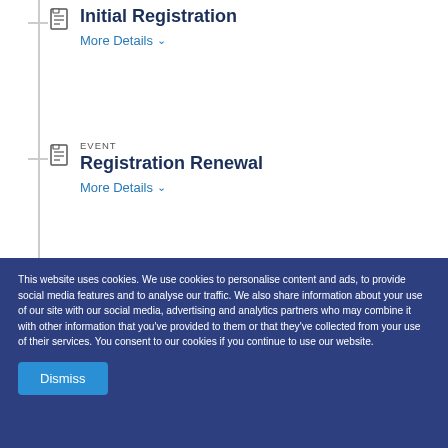Initial Registration
More Details
EVENT
Registration Renewal
More Details
Show 4 More Licenses
Related Government
This website uses cookies. We use cookies to personalise content and ads, to provide social media features and to analyse our traffic. We also share information about your use of our site with our social media, advertising and analytics partners who may combine it with other information that you've provided to them or that they've collected from your use of their services. You consent to our cookies if you continue to use our website.
Dismiss